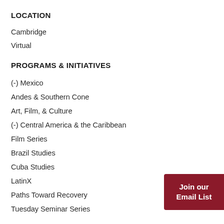LOCATION
Cambridge
Virtual
PROGRAMS & INITIATIVES
(-) Mexico
Andes & Southern Cone
Art, Film, & Culture
(-) Central America & the Caribbean
Film Series
Brazil Studies
Cuba Studies
LatinX
Paths Toward Recovery
Tuesday Seminar Series
Join our Email List